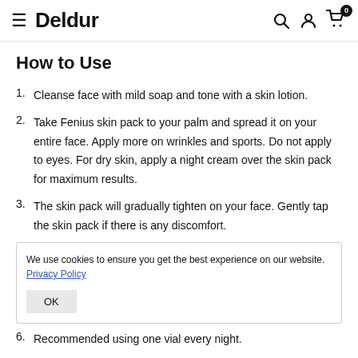Deldur
How to Use
1. Cleanse face with mild soap and tone with a skin lotion.
2. Take Fenius skin pack to your palm and spread it on your entire face. Apply more on wrinkles and sports. Do not apply to eyes. For dry skin, apply a night cream over the skin pack for maximum results.
3. The skin pack will gradually tighten on your face. Gently tap the skin pack if there is any discomfort.
We use cookies to ensure you get the best experience on our website. Privacy Policy [OK button]
6. Recommended using one vial every night.